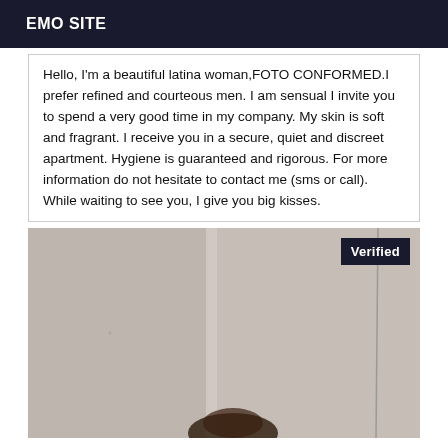EMO SITE
Hello, I'm a beautiful latina woman,FOTO CONFORMED.I prefer refined and courteous men. I am sensual I invite you to spend a very good time in my company. My skin is soft and fragrant. I receive you in a secure, quiet and discreet apartment. Hygiene is guaranteed and rigorous. For more information do not hesitate to contact me (sms or call). While waiting to see you, I give you big kisses.
[Figure (photo): A photo of a person in an interior setting, with a verified badge overlay in the top right corner.]